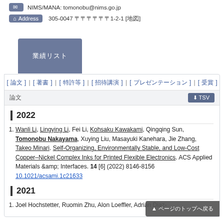NIMS/MANA: tomonobu@nims.go.jp
Address: 305-0047 〒 1-2-1 [地図]
業績リスト
[論文] | [著書] | [特許等] | [招待講演] | [プレゼンテーション] | [受賞]
論文
2022
Wanli Li, Lingying Li, Fei Li, Kohsaku Kawakami, Qingqing Sun, Tomonobu Nakayama, Xuying Liu, Masayuki Kanehara, Jie Zhang, Takeo Minari. Self-Organizing, Environmentally Stable, and Low-Cost Copper–Nickel Complex Inks for Printed Flexible Electronics. ACS Applied Materials & Interfaces. 14 [6] (2022) 8146-8156 10.1021/acsami.1c21633
2021
Joel Hochstetter, Ruomin Zhu, Alon Loeffler, Adrian Diaz-...